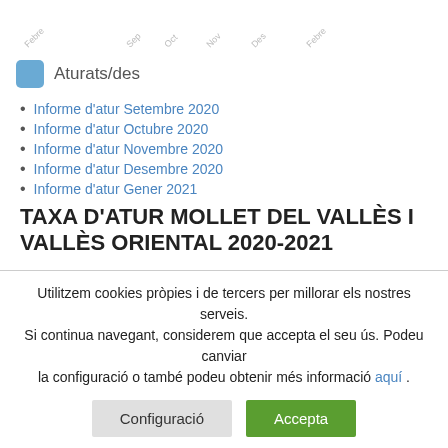[Figure (continuous-plot): Partial chart showing x-axis labels including Febre, Sep, Oct, Nov, Des, Febre — top portion of a line/area chart that is cropped at the top of the page]
Aturats/des
Informe d'atur Setembre 2020
Informe d'atur Octubre 2020
Informe d'atur Novembre 2020
Informe d'atur Desembre 2020
Informe d'atur Gener 2021
TAXA D'ATUR MOLLET DEL VALLÈS I VALLÈS ORIENTAL 2020-2021
Utilitzem cookies pròpies i de tercers per millorar els nostres serveis. Si continua navegant, considerem que accepta el seu ús. Podeu canviar la configuració o també podeu obtenir més informació aquí .